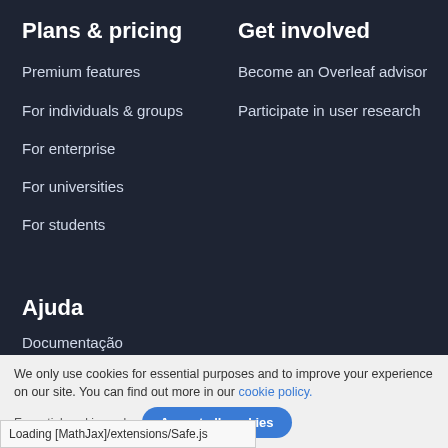Plans & pricing
Premium features
For individuals & groups
For enterprise
For universities
For students
Get involved
Become an Overleaf advisor
Participate in user research
Ajuda
Documentação
Contact us
We only use cookies for essential purposes and to improve your experience on our site. You can find out more in our cookie policy.
Loading [MathJax]/extensions/Safe.js